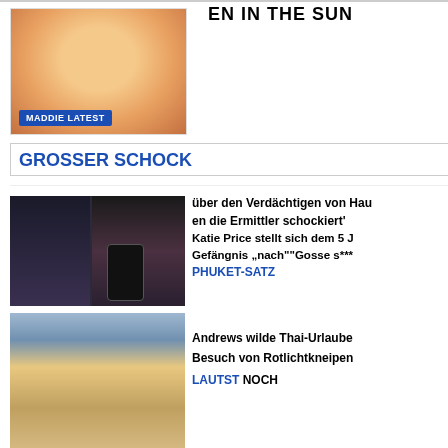EN IN THE SUN
[Figure (photo): Photo of young blonde child (Maddie) with 'MADDIE LATEST' badge overlay]
GROSSER SCHOCK
[Figure (photo): Two images side by side: left shows figure in dark car, right shows couple standing together. Phone with message overlay visible.]
über den Verdächtigen von Hau
en die Ermittler schockiert'
Katie Price stellt sich dem 5 J
Gefängnis „nach""Gosse s***
PHUKET-SATZ
[Figure (photo): Collage of photos showing people on a boat/yacht holiday, Thai vacation scenes]
Andrews wilde Thai-Urlaube
Besuch von Rotlichtkneipen
LAUTST NOCH
[Figure (photo): Partial photo of group of people, partially cut off at bottom of page]